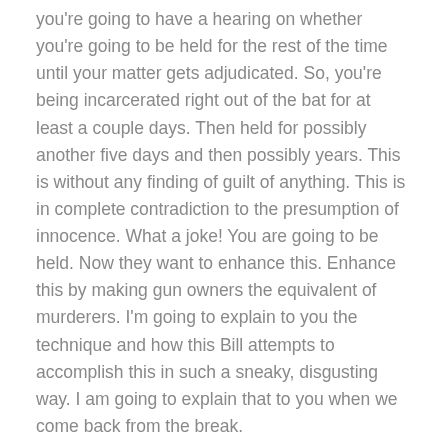you're going to have a hearing on whether you're going to be held for the rest of the time until your matter gets adjudicated. So, you're being incarcerated right out of the bat for at least a couple days. Then held for possibly another five days and then possibly years. This is without any finding of guilt of anything. This is in complete contradiction to the presumption of innocence. What a joke! You are going to be held. Now they want to enhance this. Enhance this by making gun owners the equivalent of murderers. I'm going to explain to you the technique and how this Bill attempts to accomplish this in such a sneaky, disgusting way. I am going to explain that to you when we come back from the break.
Speaker 3 12:10
For over 30 years Attorney Evan Nappen has seen what...